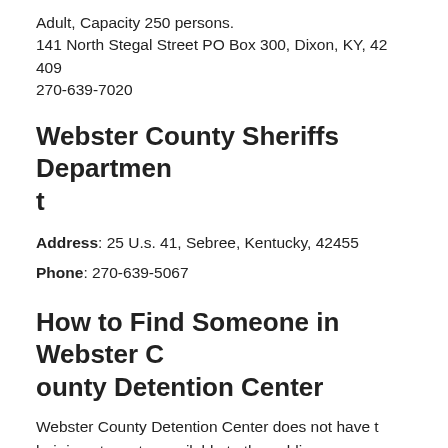Adult, Capacity 250 persons.
141 North Stegal Street PO Box 300, Dixon, KY, 42 409
270-639-7020
Webster County Sheriffs Department
Address: 25 U.s. 41, Sebree, Kentucky, 42455
Phone: 270-639-5067
How to Find Someone in Webster County Detention Center
Webster County Detention Center does not have their inmate roster available to the public.